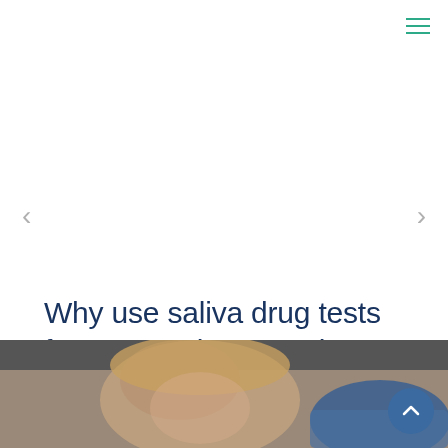[Figure (other): Hamburger menu icon with three horizontal green lines, top-right corner]
<
>
Why use saliva drug tests for pre-employment drug screening?
[Figure (infographic): Social sharing widget with count boxes showing 5, 0, 0 and buttons for Facebook Share, Twitter Tweet, Pinterest Pin]
[Figure (photo): Blurred photo of a woman with blonde hair looking up, with a blue-gloved hand visible, in a medical/laboratory context]